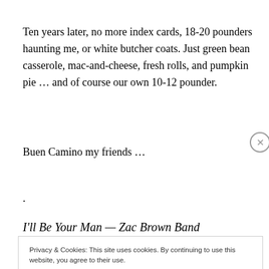Ten years later, no more index cards, 18-20 pounders haunting me, or white butcher coats. Just green bean casserole, mac-and-cheese, fresh rolls, and pumpkin pie … and of course our own 10-12 pounder.
Buen Camino my friends …
.
I'll Be Your Man — Zac Brown Band
Privacy & Cookies: This site uses cookies. By continuing to use this website, you agree to their use.
To find out more, including how to control cookies, see here: Cookie Policy